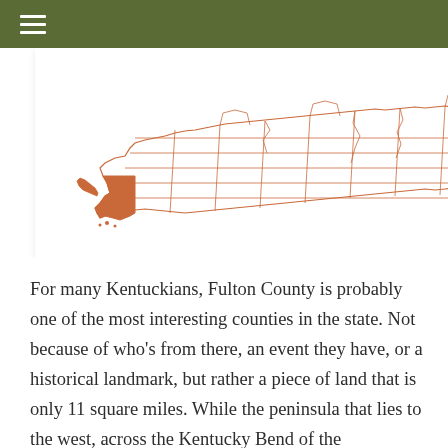≡
[Figure (map): Partial map of Kentucky showing county boundaries drawn in orange/brown lines on white background, with a small highlighted region (Fulton County area) in the lower left and an orange vertical bar on the right edge.]
For many Kentuckians, Fulton County is probably one of the most interesting counties in the state. Not because of who's from there, an event they have, or a historical landmark, but rather a piece of land that is only 11 square miles.  While the peninsula that lies to the west, across the Kentucky Bend of the Mississippi River, looks no different than the rest of the county, there is something worth taking a second look at.  Interestingly enough,